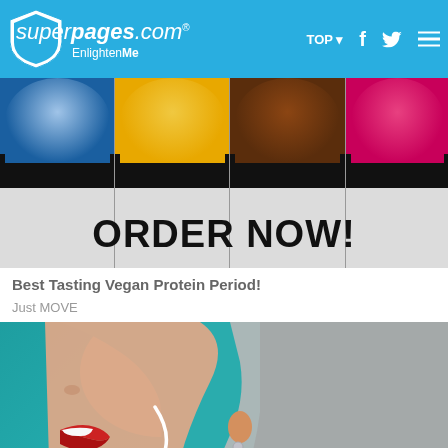superpages.com EnlightenMe | TOP | f | (twitter) | (menu)
[Figure (photo): Advertisement banner showing protein powder containers labeled Blueberry Muffin, Banana Pudding, Chocolate Cake, Fruit Punch with text ORDER NOW! overlaid in large bold black letters on a light background]
Best Tasting Vegan Protein Period!
Just MOVE
[Figure (photo): Side profile close-up of an older woman with white/grey hair and red lipstick, smiling, with white curved arrows drawn on her neck and jawline area, against a teal/turquoise background]